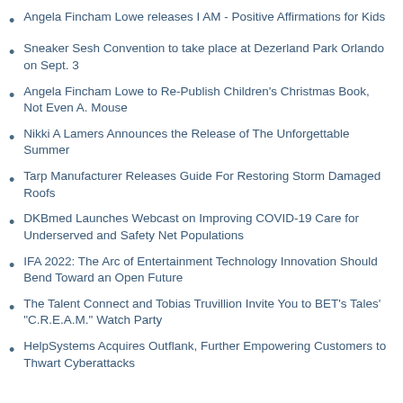Angela Fincham Lowe releases I AM - Positive Affirmations for Kids
Sneaker Sesh Convention to take place at Dezerland Park Orlando on Sept. 3
Angela Fincham Lowe to Re-Publish Children's Christmas Book, Not Even A. Mouse
Nikki A Lamers Announces the Release of The Unforgettable Summer
Tarp Manufacturer Releases Guide For Restoring Storm Damaged Roofs
DKBmed Launches Webcast on Improving COVID-19 Care for Underserved and Safety Net Populations
IFA 2022: The Arc of Entertainment Technology Innovation Should Bend Toward an Open Future
The Talent Connect and Tobias Truvillion Invite You to BET's Tales' "C.R.E.A.M." Watch Party
HelpSystems Acquires Outflank, Further Empowering Customers to Thwart Cyberattacks